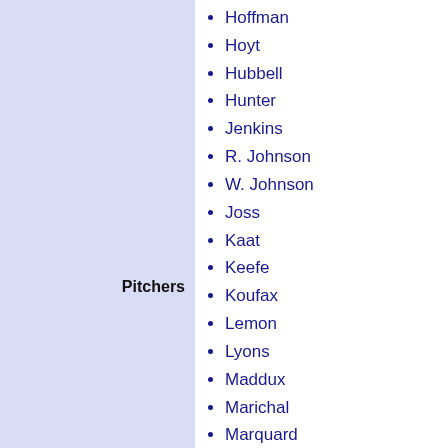Pitchers
Hoffman
Hoyt
Hubbell
Hunter
Jenkins
R. Johnson
W. Johnson
Joss
Kaat
Keefe
Koufax
Lemon
Lyons
Maddux
Marichal
Marquard
P. Martínez
Mathewson
McGinnity